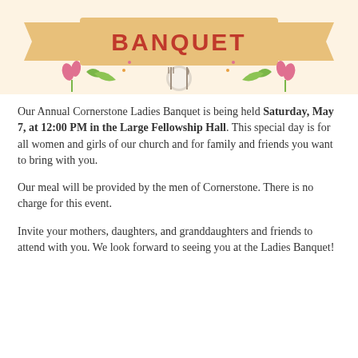[Figure (illustration): Decorative banner for the Ladies Banquet with a ribbon reading BANQUET in bold pink/red letters, flanked by floral and leaf decorations, a plate with fork and knife, and tulip motifs on a cream background.]
Our Annual Cornerstone Ladies Banquet is being held Saturday, May 7, at 12:00 PM in the Large Fellowship Hall. This special day is for all women and girls of our church and for family and friends you want to bring with you.
Our meal will be provided by the men of Cornerstone. There is no charge for this event.
Invite your mothers, daughters, and granddaughters and friends to attend with you. We look forward to seeing you at the Ladies Banquet!